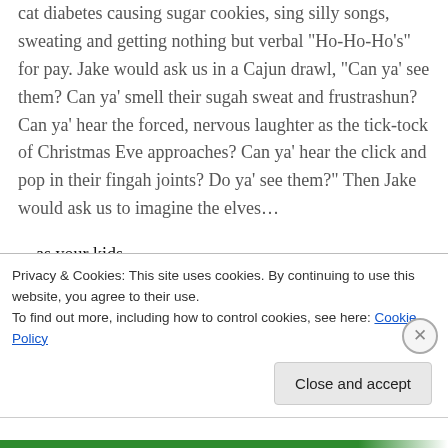cat diabetes causing sugar cookies, sing silly songs, sweating and getting nothing but verbal “Ho-Ho-Ho’s” for pay. Jake would ask us in a Cajun drawl, “Can ya’ see them? Can ya’ smell their sugah sweat and frustrashun? Can ya’ hear the forced, nervous laughter as the tick-tock of Christmas Eve approaches? Can ya’ hear the click and pop in their fingah joints? Do ya’ see them?” Then Jake would ask us to imagine the elves…
…as your kids.
Privacy & Cookies: This site uses cookies. By continuing to use this website, you agree to their use.
To find out more, including how to control cookies, see here: Cookie Policy